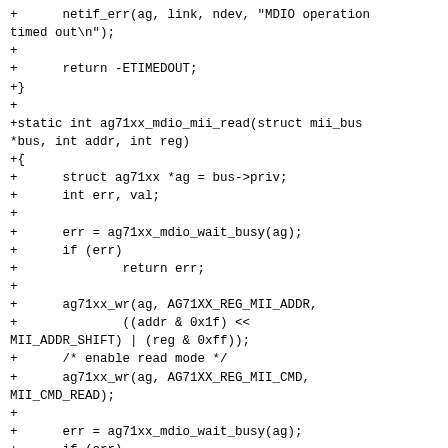+	    netif_err(ag, link, ndev, "MDIO operation timed out\n");
+
+	    return -ETIMEDOUT;
+}
+
+static int ag71xx_mdio_mii_read(struct mii_bus *bus, int addr, int reg)
+{
+	    struct ag71xx *ag = bus->priv;
+	    int err, val;
+
+	    err = ag71xx_mdio_wait_busy(ag);
+	    if (err)
+		        return err;
+
+	    ag71xx_wr(ag, AG71XX_REG_MII_ADDR,
+		        ((addr & 0x1f) << MII_ADDR_SHIFT) | (reg & 0xff));
+	    /* enable read mode */
+	    ag71xx_wr(ag, AG71XX_REG_MII_CMD, MII_CMD_READ);
+
+	    err = ag71xx_mdio_wait_busy(ag);
+	    if (err)
+		        return err;
+
+	    val = ag71xx_rr(ag, AG71XX_REG_MII_STATUS);
+	    /* disable read mode */